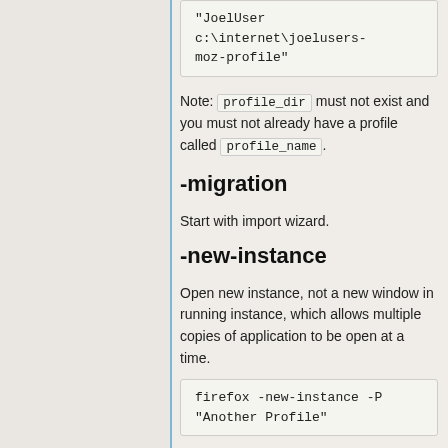"JoelUser c:\internet\joelusers-moz-profile"
Note: profile_dir must not exist and you must not already have a profile called profile_name.
-migration
Start with import wizard.
-new-instance
Open new instance, not a new window in running instance, which allows multiple copies of application to be open at a time.
firefox -new-instance -P "Another Profile"